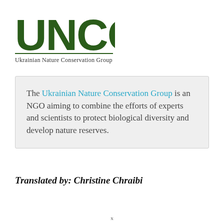[Figure (logo): UNCG Ukrainian Nature Conservation Group logo with large green letters UNCG above a horizontal rule and the text Ukrainian Nature Conservation Group]
The Ukrainian Nature Conservation Group is an NGO aiming to combine the efforts of experts and scientists to protect biological diversity and develop nature reserves.
Translated by: Christine Chraibi